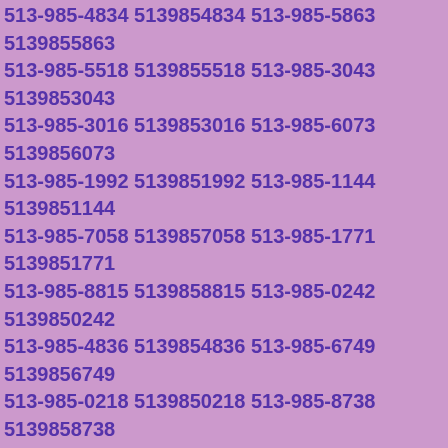513-985-4834 5139854834 513-985-5863 5139855863 513-985-5518 5139855518 513-985-3043 5139853043 513-985-3016 5139853016 513-985-6073 5139856073 513-985-1992 5139851992 513-985-1144 5139851144 513-985-7058 5139857058 513-985-1771 5139851771 513-985-8815 5139858815 513-985-0242 5139850242 513-985-4836 5139854836 513-985-6749 5139856749 513-985-0218 5139850218 513-985-8738 5139858738 513-985-3781 5139853781 513-985-2419 5139852419 513-985-7995 5139857995 513-985-5755 5139855755 513-985-5514 5139855514 513-985-6811 5139856811 513-985-9039 5139859039 513-985-8561 5139858561 513-985-8803 5139858803 513-985-4981 5139854981 513-985-4812 5139854812 513-985-4974 5139854974 513-985-8933 5139858933 513-985-3501 5139853501 513-985-3333 5139853333 513-985-5627 5139855627 513-985-4662 5139854662 513-985-2380 5139852380 513-985-7165 5139857165 513-985-3803 5139853803 513-985-2283 5139852283 513-985-6093 5139856093 513-985-6671 5139856671 513-985-5780 5139855780 513-985-6493 5139856493 513-985-9655 5139859655